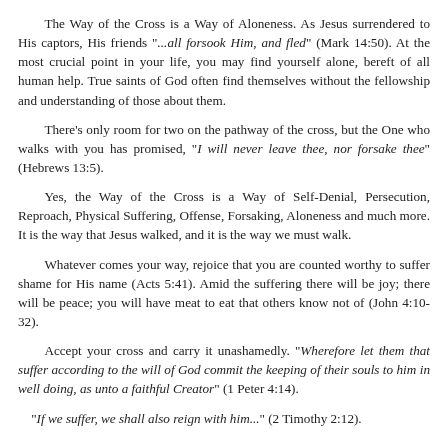The Way of the Cross is a Way of Aloneness. As Jesus surrendered to His captors, His friends "...all forsook Him, and fled" (Mark 14:50). At the most crucial point in your life, you may find yourself alone, bereft of all human help. True saints of God often find themselves without the fellowship and understanding of those about them.
There’s only room for two on the pathway of the cross, but the One who walks with you has promised, "I will never leave thee, nor forsake thee" (Hebrews 13:5).
Yes, the Way of the Cross is a Way of Self-Denial, Persecution, Reproach, Physical Suffering, Offense, Forsaking, Aloneness and much more. It is the way that Jesus walked, and it is the way we must walk.
Whatever comes your way, rejoice that you are counted worthy to suffer shame for His name (Acts 5:41). Amid the suffering there will be joy; there will be peace; you will have meat to eat that others know not of (John 4:10-32).
Accept your cross and carry it unashamedly. "Wherefore let them that suffer according to the will of God commit the keeping of their souls to him in well doing, as unto a faithful Creator" (1 Peter 4:14).
"If we suffer, we shall also reign with him..." (2 Timothy 2:12).